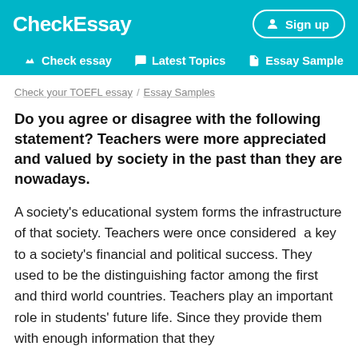Checkessay
Check essay  Latest Topics  Essay Sample
Check your TOEFL essay / Essay Samples
Do you agree or disagree with the following statement? Teachers were more appreciated and valued by society in the past than they are nowadays.
A society's educational system forms the infrastructure of that society. Teachers were once considered  a key to a society's financial and political success. They used to be the distinguishing factor among the first and third world countries. Teachers play an important role in students' future life. Since they provide them with enough information that they